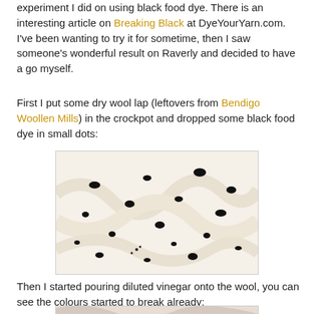experiment I did on using black food dye. There is an interesting article on Breaking Black at DyeYourYarn.com. I've been wanting to try it for sometime, then I saw someone's wonderful result on Raverly and decided to have a go myself.
First I put some dry wool lap (leftovers from Bendigo Woollen Mills) in the crockpot and dropped some black food dye in small dots:
[Figure (photo): Photo of white wool lap in a crockpot with small black dots of food dye scattered across it.]
Then I started pouring diluted vinegar onto the wool, you can see the colours started to break already:
[Figure (photo): Photo of wool in crockpot after vinegar added, showing colours starting to break with pinkish/purplish tones appearing.]